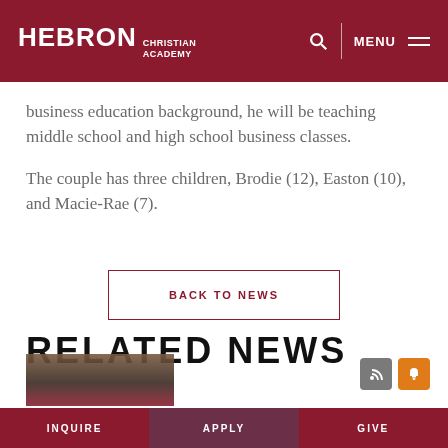HEBRON CHRISTIAN ACADEMY
business education background, he will be teaching middle school and high school business classes.
The couple has three children, Brodie (12), Easton (10), and Macie-Rae (7).
BACK TO NEWS
RELATED NEWS
[Figure (photo): Partial thumbnail image of a person, appears to be a sports or school-related photo]
INQUIRE   APPLY   GIVE